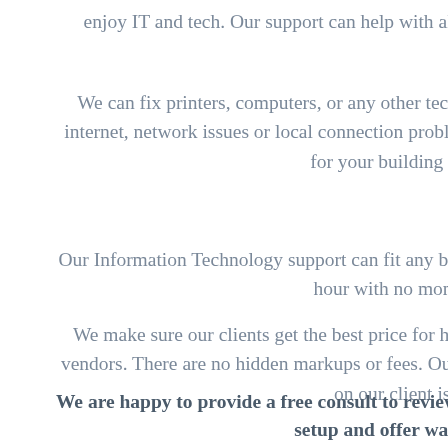enjoy IT and tech. Our support can help with all
We can fix printers, computers, or any other tech internet, network issues or local connection proble for your building o
Our Information Technology support can fit any bu hour with no mont
We make sure our clients get the best price for ha vendors. There are no hidden markups or fees. Our on our client iss
We are happy to provide a free consult to review setup and offer way